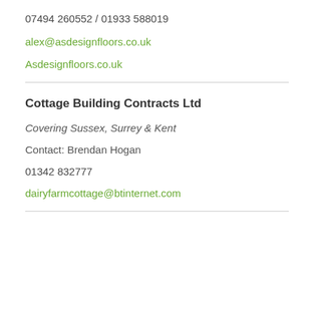07494 260552 / 01933 588019
alex@asdesignfloors.co.uk
Asdesignfloors.co.uk
Cottage Building Contracts Ltd
Covering Sussex, Surrey & Kent
Contact: Brendan Hogan
01342 832777
dairyfarmcottage@btinternet.com